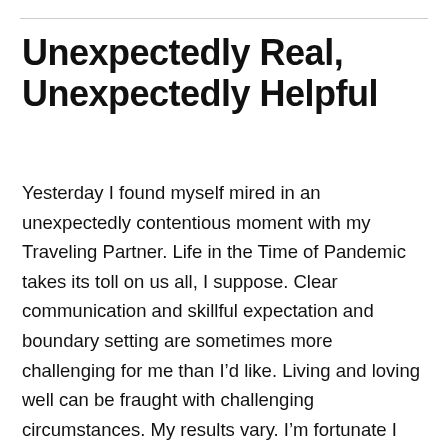Unexpectedly Real, Unexpectedly Helpful
Yesterday I found myself mired in an unexpectedly contentious moment with my Traveling Partner. Life in the Time of Pandemic takes its toll on us all, I suppose. Clear communication and skillful expectation and boundary setting are sometimes more challenging for me than I’d like. Living and loving well can be fraught with challenging circumstances. My results vary. I’m fortunate I can retreat to my studio and take a bit of time and distance to care for myself, and restore my sense of perspective, often through writing, sometimes through study or creative endeavors, sometimes meditation is enough. Yesterday